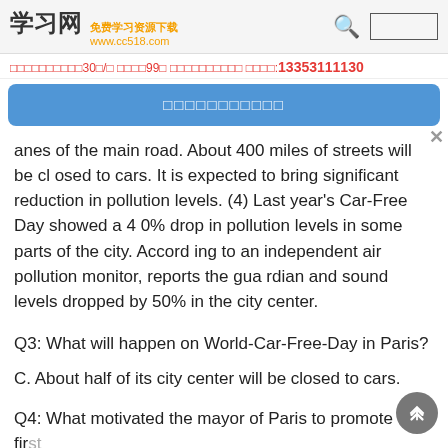学习网 免费学习资源下载 www.cc518.com
□□□□□□□□□□30□/□ □□□□99□ □□□□□□□□□□ □□□□:13353111130
□□□□□□□□□□□
anes of the main road. About 400 miles of streets will be closed to cars. It is expected to bring significant reduction in pollution levels. (4) Last year's Car-Free Day showed a 40% drop in pollution levels in some parts of the city. According to an independent air pollution monitor, reports the guardian and sound levels dropped by 50% in the city center.
Q3: What will happen on World-Car-Free-Day in Paris?
C. About half of its city center will be closed to cars.
Q4: What motivated the mayor of Paris to promote the first World-Car-Free-Day in city?